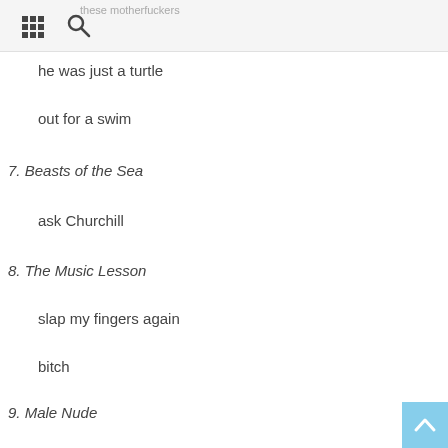these motherfuckers
he was just a turtle
out for a swim
7. Beasts of the Sea
ask Churchill
8. The Music Lesson
slap my fingers again
bitch
9. Male Nude
age 27
they found water